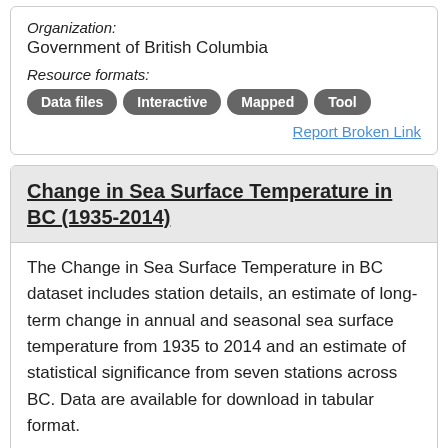Organization:
Government of British Columbia
Resource formats:
Data files  Interactive  Mapped  Tool
Report Broken Link
Change in Sea Surface Temperature in BC (1935-2014)
The Change in Sea Surface Temperature in BC dataset includes station details, an estimate of long-term change in annual and seasonal sea surface temperature from 1935 to 2014 and an estimate of statistical significance from seven stations across BC. Data are available for download in tabular format.
Organization:
Government of British Columbia